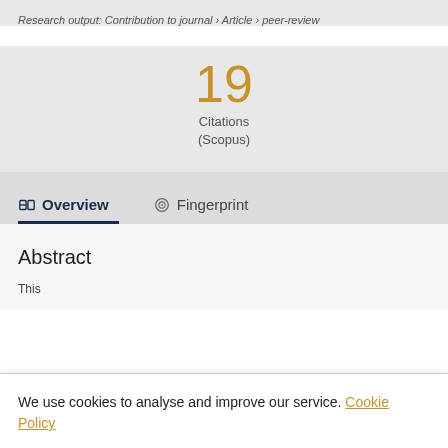Research output: Contribution to journal › Article › peer-review
19
Citations
(Scopus)
Overview
Fingerprint
Abstract
Thi...
We use cookies to analyse and improve our service. Cookie Policy